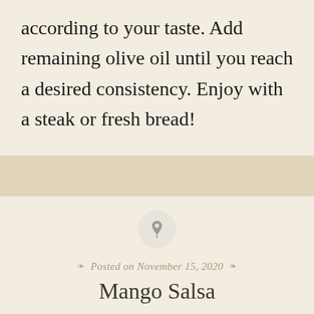according to your taste. Add remaining olive oil until you reach a desired consistency. Enjoy with a steak or fresh bread!
[Figure (other): Decorative divider band with beige/tan background color]
[Figure (other): Circular pin/pushpin icon in a light gray circle]
Posted on November 15, 2020
Mango Salsa